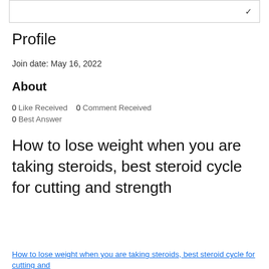Profile
Join date: May 16, 2022
About
0 Like Received   0 Comment Received  0 Best Answer
How to lose weight when you are taking steroids, best steroid cycle for cutting and strength
How to lose weight when you are taking steroids, best steroid cycle for cutting and